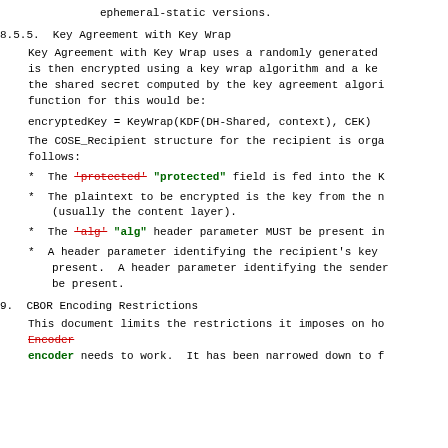ephemeral-static versions.
8.5.5.  Key Agreement with Key Wrap
Key Agreement with Key Wrap uses a randomly generated is then encrypted using a key wrap algorithm and a ke the shared secret computed by the key agreement algori function for this would be:
encryptedKey = KeyWrap(KDF(DH-Shared, context), CEK)
The COSE_Recipient structure for the recipient is orga follows:
* The 'protected' "protected" field is fed into the K
* The plaintext to be encrypted is the key from the n (usually the content layer).
* The 'alg' "alg" header parameter MUST be present in
* A header parameter identifying the recipient's key present. A header parameter identifying the sender be present.
9.  CBOR Encoding Restrictions
This document limits the restrictions it imposes on how Encoder encoder needs to work. It has been narrowed down to f